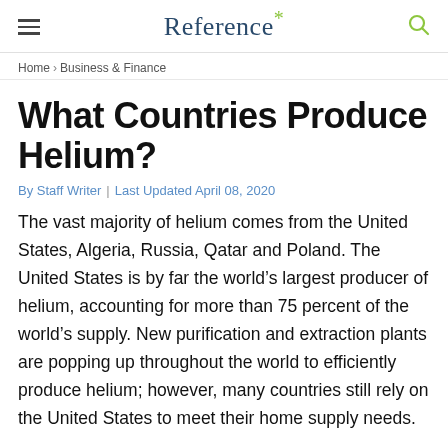Reference*
Home › Business & Finance
What Countries Produce Helium?
By Staff Writer | Last Updated April 08, 2020
The vast majority of helium comes from the United States, Algeria, Russia, Qatar and Poland. The United States is by far the world's largest producer of helium, accounting for more than 75 percent of the world's supply. New purification and extraction plants are popping up throughout the world to efficiently produce helium; however, many countries still rely on the United States to meet their home supply needs.